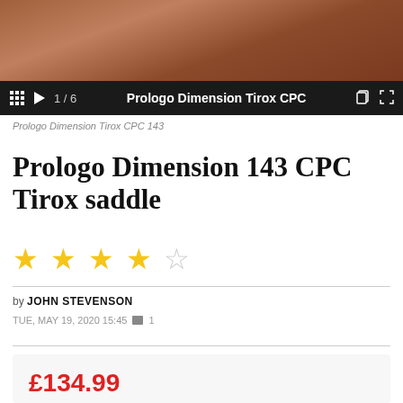[Figure (photo): A reddish-brown textured surface, likely a close-up of a bicycle saddle material]
1 / 6   Prologo Dimension Tirox CPC
Prologo Dimension Tirox CPC 143
Prologo Dimension 143 CPC Tirox saddle
★★★★☆ (4.5 stars)
by JOHN STEVENSON
TUE, MAY 19, 2020 15:45  1
£134.99
VERDICT: